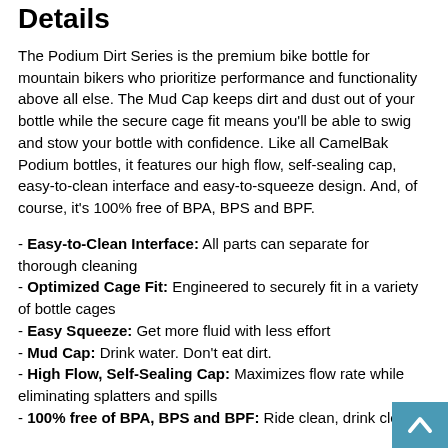Details
The Podium Dirt Series is the premium bike bottle for mountain bikers who prioritize performance and functionality above all else. The Mud Cap keeps dirt and dust out of your bottle while the secure cage fit means you'll be able to swig and stow your bottle with confidence. Like all CamelBak Podium bottles, it features our high flow, self-sealing cap, easy-to-clean interface and easy-to-squeeze design. And, of course, it's 100% free of BPA, BPS and BPF.
- Easy-to-Clean Interface: All parts can separate for thorough cleaning
- Optimized Cage Fit: Engineered to securely fit in a variety of bottle cages
- Easy Squeeze: Get more fluid with less effort
- Mud Cap: Drink water. Don't eat dirt.
- High Flow, Self-Sealing Cap: Maximizes flow rate while eliminating splatters and spills
- 100% free of BPA, BPS and BPF: Ride clean, drink clea…